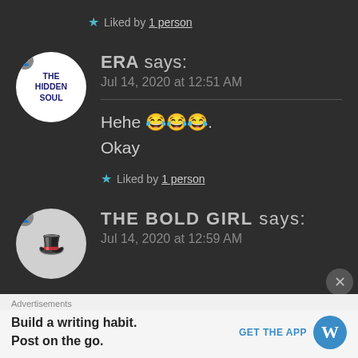★ Liked by 1 person
ERA says:
Jul 14, 2020 at 12:51 AM
Hehe 😂😂😂.
Okay
★ Liked by 1 person
THE BOLD GIRL says:
Jul 14, 2020 at 12:59 AM
Advertisements
Build a writing habit.
Post on the go. GET THE APP